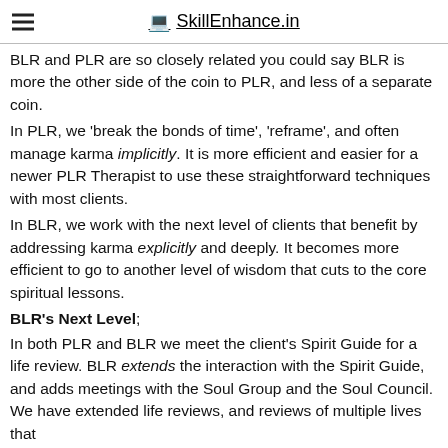SkillEnhance.in
BLR and PLR are so closely related you could say BLR is more the other side of the coin to PLR, and less of a separate coin.
In PLR, we 'break the bonds of time', 'reframe', and often manage karma implicitly. It is more efficient and easier for a newer PLR Therapist to use these straightforward techniques with most clients.
In BLR, we work with the next level of clients that benefit by addressing karma explicitly and deeply. It becomes more efficient to go to another level of wisdom that cuts to the core spiritual lessons.
BLR's Next Level;
In both PLR and BLR we meet the client's Spirit Guide for a life review. BLR extends the interaction with the Spirit Guide, and adds meetings with the Soul Group and the Soul Council. We have extended life reviews, and reviews of multiple lives that